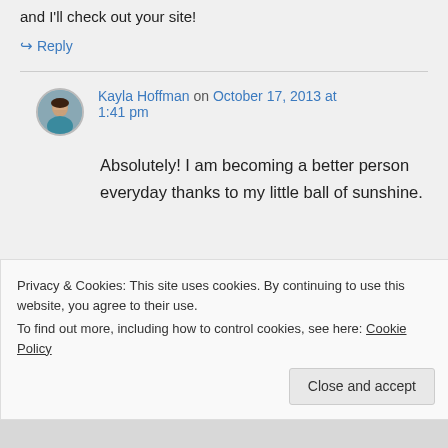and I'll check out your site!
↪ Reply
Kayla Hoffman on October 17, 2013 at 1:41 pm
Absolutely! I am becoming a better person everyday thanks to my little ball of sunshine.
Privacy & Cookies: This site uses cookies. By continuing to use this website, you agree to their use.
To find out more, including how to control cookies, see here: Cookie Policy
Close and accept